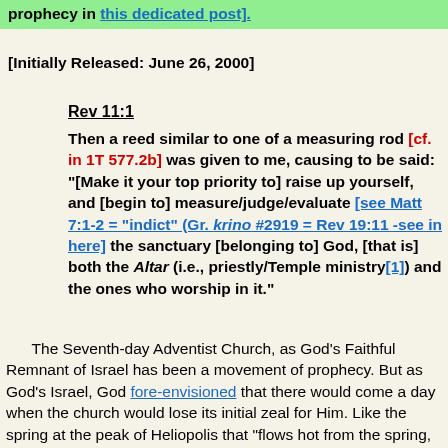prophecy in this dedicated post].
[Initially Released: June 26, 2000]
Rev 11:1
Then a reed similar to one of a measuring rod [cf. in 1T 577.2b] was given to me, causing to be said: "[Make it your top priority to] raise up yourself, and [begin to] measure/judge/evaluate [see Matt 7:1-2 = "indict" (Gr. krino #2919 = Rev 19:11 -see in here] the sanctuary [belonging to] God, [that is] both the Altar (i.e., priestly/Temple ministry[1]) and the ones who worship in it."
The Seventh-day Adventist Church, as God's Faithful Remnant of Israel has been a movement of prophecy. But as God's Israel, God fore-envisioned that there would come a day when the church would lose its initial zeal for Him. Like the spring at the peak of Heliopolis that "flows hot from the spring, but cools as it flows down the